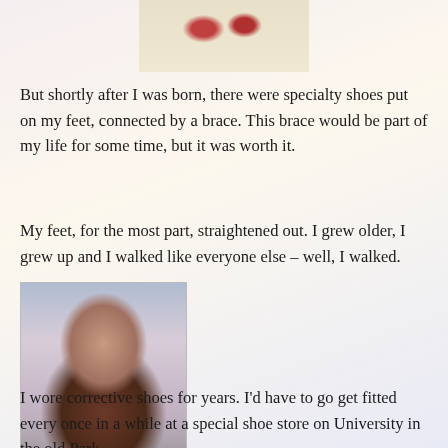[Figure (photo): Partial top view of a faded photograph showing what appears to be reddish floral or animal shapes on a light background]
But shortly after I was born, there were specialty shoes put on my feet, connected by a brace. This brace would be part of my life for some time, but it was worth it.
My feet, for the most part, straightened out. I grew older, I grew up and I walked like everyone else – well, I walked.
[Figure (photo): Vintage color photograph of a young smiling toddler girl sitting in a wicker/rattan chair, wearing a dark dress, with corrective shoes visible at the bottom]
I wore corrective shoes for years. I'd have to go get fitted every once in a while at a special shoe store on University in the old Park